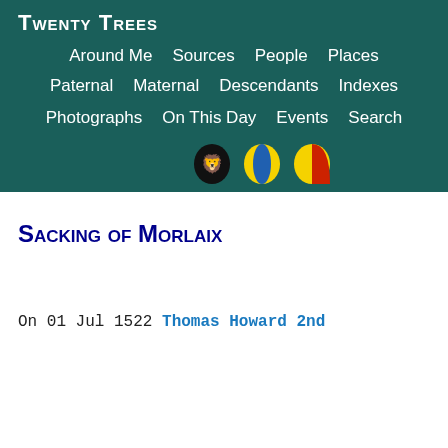Twenty Trees
Around Me  Sources  People  Places
Paternal  Maternal  Descendants  Indexes
Photographs  On This Day  Events  Search
[Figure (illustration): Three heraldic shield/badge icons: black with white lion, yellow/blue, yellow/red]
Sacking of Morlaix
On 01 Jul 1522 Thomas Howard 2nd